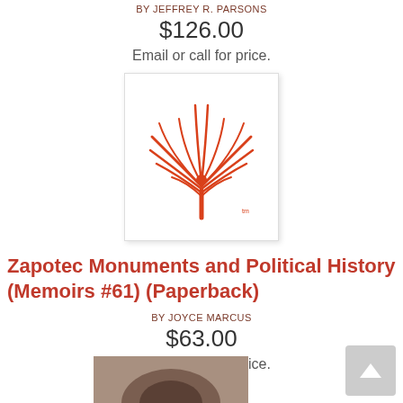BY JEFFREY R. PARSONS
$126.00
Email or call for price.
[Figure (logo): Publisher logo: red illustrated letter i with wing-like feathers/leaves, on white background with thin border]
Zapotec Monuments and Political History (Memoirs #61) (Paperback)
BY JOYCE MARCUS
$63.00
Email or call for price.
[Figure (photo): Partial photo of a stone or artifact at the bottom of the page]